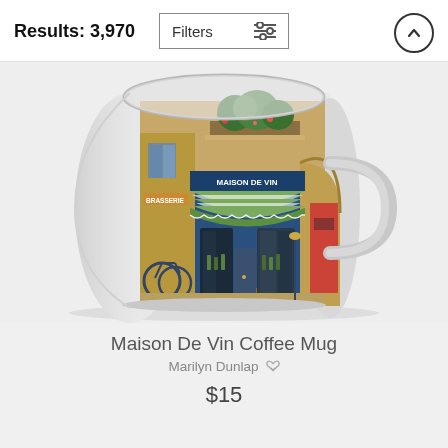Results: 3,970
Filters
[Figure (photo): A coffee mug featuring a painted illustration of a French wine shop called 'Maison De Vin' on a Parisian street, with blue storefront, striped awning, flower boxes, and cobblestone street scene.]
Maison De Vin Coffee Mug
Marilyn Dunlap
$15